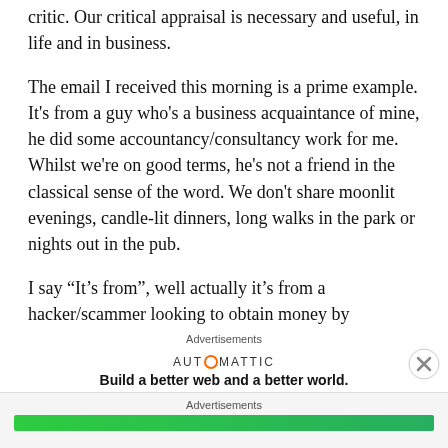critic. Our critical appraisal is necessary and useful, in life and in business.
The email I received this morning is a prime example. It's from a guy who's a business acquaintance of mine, he did some accountancy/consultancy work for me. Whilst we're on good terms, he's not a friend in the classical sense of the word. We don't share moonlit evenings, candle-lit dinners, long walks in the park or nights out in the pub.
I say “It’s from”, well actually it’s from a hacker/scammer looking to obtain money by deception – FRAUD.
Advertisements
[Figure (logo): Automattic logo with tagline: Build a better web and a better world.]
Advertisements